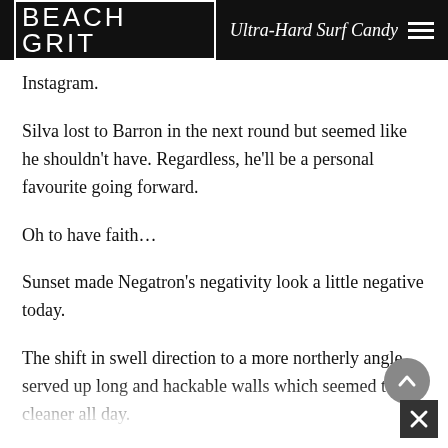BEACH GRIT Ultra-Hard Surf Candy
Instagram.
Silva lost to Barron in the next round but seemed like he shouldn’t have. Regardless, he’ll be a personal favourite going forward.
Oh to have faith…
Sunset made Negatron’s negativity look a little negative today.
The shift in swell direction to a more northerly angle served up long and hackable walls which seemed to get cleaner all day.